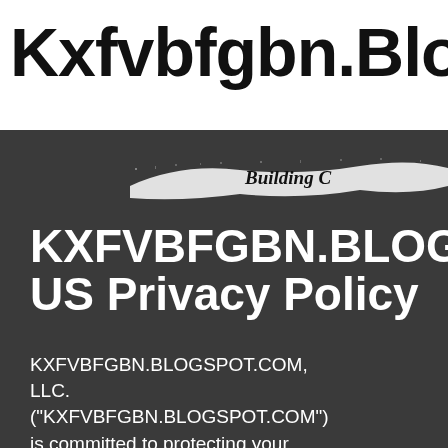[Figure (logo): Handwritten-style blog logo text reading 'Kxfvbfgbn.Blogsp' on white background]
[Figure (illustration): White paint brush stroke on dark background with italic bold text 'Building C' partially visible]
KXFVBFGBN.BLOGSPOT.COM US Privacy Policy
KXFVBFGBN.BLOGSPOT.COM, LLC. ("KXFVBFGBN.BLOGSPOT.COM") is committed to protecting your